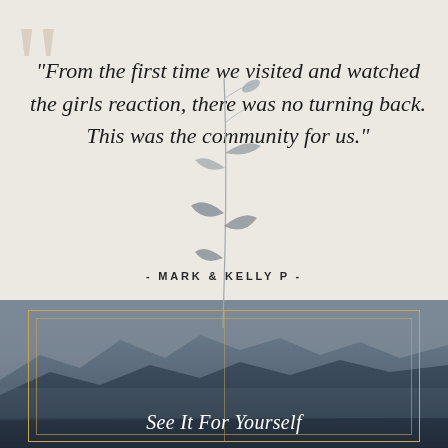"From the first time we visited and watched the girls reaction, there was no turning back. This was the community for us."
- MARK & KELLY P -
[Figure (illustration): Decorative botanical illustration of a hanging branch with leaves in grey/silver tones]
[Figure (photo): Landscape mountain scene with misty blue-purple mountains and sky, overlaid with thin gold border frames]
See It For Yourself